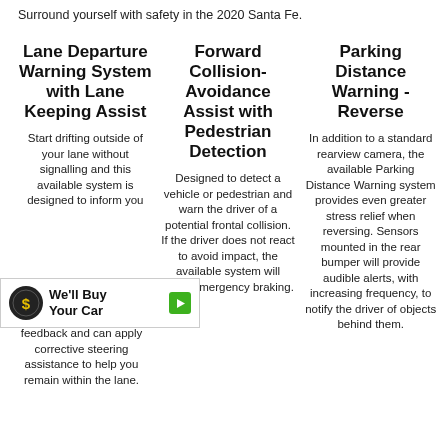Surround yourself with safety in the 2020 Santa Fe.
Lane Departure Warning System with Lane Keeping Assist
Forward Collision-Avoidance Assist with Pedestrian Detection
Parking Distance Warning - Reverse
Start drifting outside of your lane without signalling and this available system is designed to inform you [visual] Assist will provide further feedback and can apply corrective steering assistance to help you remain within the lane.
Designed to detect a vehicle or pedestrian and warn the driver of a potential frontal collision. If the driver does not react to avoid impact, the available system will apply emergency braking.
In addition to a standard rearview camera, the available Parking Distance Warning system provides even greater stress relief when reversing. Sensors mounted in the rear bumper will provide audible alerts, with increasing frequency, to notify the driver of objects behind them.
[Figure (logo): We'll Buy Your Car banner with icon and green arrow button]